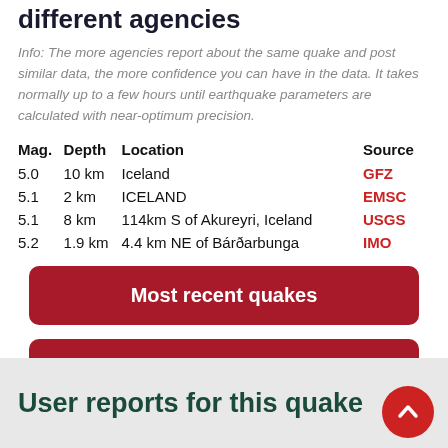different agencies
Info: The more agencies report about the same quake and post similar data, the more confidence you can have in the data. It takes normally up to a few hours until earthquake parameters are calculated with near-optimum precision.
| Mag. | Depth | Location | Source |
| --- | --- | --- | --- |
| 5.0 | 10 km | Iceland | GFZ |
| 5.1 | 2 km | ICELAND | EMSC |
| 5.1 | 8 km | 114km S of Akureyri, Iceland | USGS |
| 5.2 | 1.9 km | 4.4 km NE of Bárðarbunga | IMO |
Most recent quakes
Quakes in Iceland
User reports for this quake